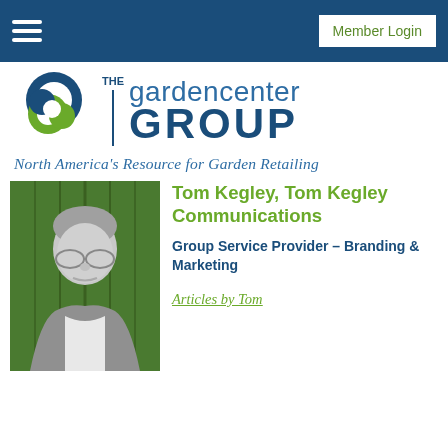Member Login
[Figure (logo): The Garden Center Group logo with circular blue and green swirl icon, vertical line separator with THE text, and gardencenter GROUP wordmark in blue]
North America's Resource for Garden Retailing
[Figure (photo): Black and white headshot photo of Tom Kegley, a middle-aged man with glasses and grey hair]
Tom Kegley, Tom Kegley Communications
Group Service Provider – Branding & Marketing
Articles by Tom